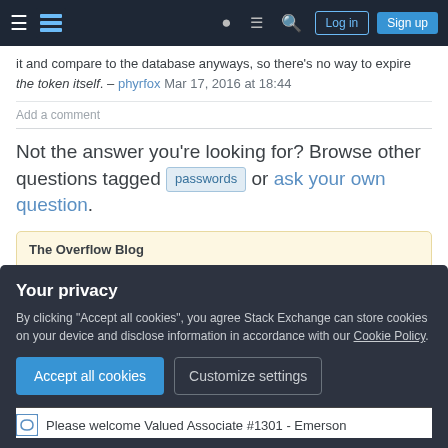Stack Exchange navigation bar with hamburger menu, logo, help, chat, search icons, Log in and Sign up buttons
it and compare to the database anyways, so there's no way to expire the token itself. – phyrfox Mar 17, 2016 at 18:44
Add a comment
Not the answer you're looking for? Browse other questions tagged passwords or ask your own question.
The Overflow Blog
Stack Overflow is launching a Student Ambassador...
Your privacy
By clicking "Accept all cookies", you agree Stack Exchange can store cookies on your device and disclose information in accordance with our Cookie Policy.
Accept all cookies   Customize settings
Please welcome Valued Associate #1301 - Emerson